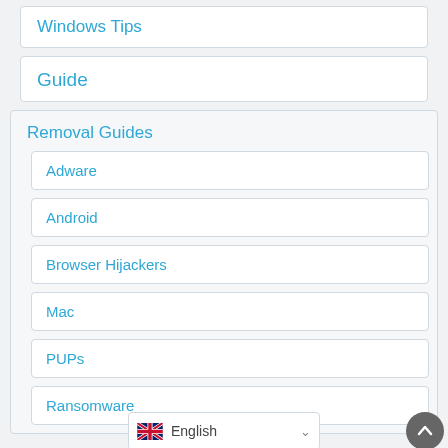Windows Tips
Guide
Removal Guides
Adware
Android
Browser Hijackers
Mac
PUPs
Ransomware
English